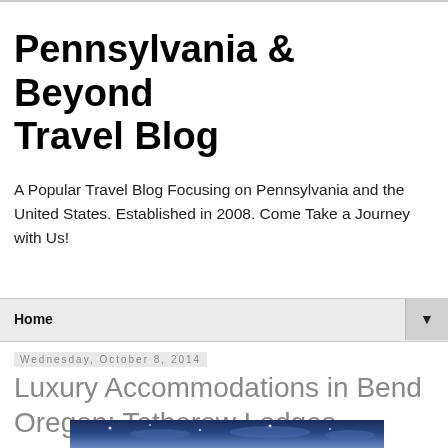Pennsylvania & Beyond Travel Blog
A Popular Travel Blog Focusing on Pennsylvania and the United States. Established in 2008. Come Take a Journey with Us!
Home ▼
Wednesday, October 8, 2014
Luxury Accommodations in Bend Oregon: Tetherow Lodges
[Figure (photo): Partial view of a night sky or scenic outdoor photo at the bottom of the page]